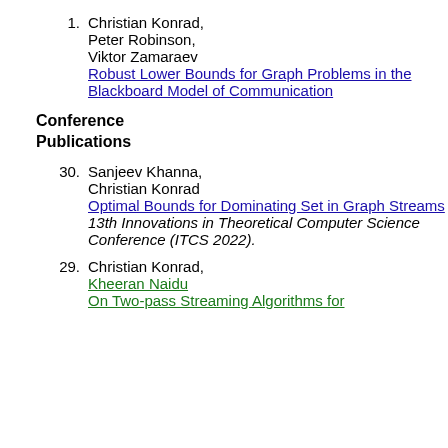1. Christian Konrad, Peter Robinson, Viktor Zamaraev Robust Lower Bounds for Graph Problems in the Blackboard Model of Communication
Conference Publications
30. Sanjeev Khanna, Christian Konrad Optimal Bounds for Dominating Set in Graph Streams 13th Innovations in Theoretical Computer Science Conference (ITCS 2022).
29. Christian Konrad, Kheeran Naidu On Two-pass Streaming Algorithms for